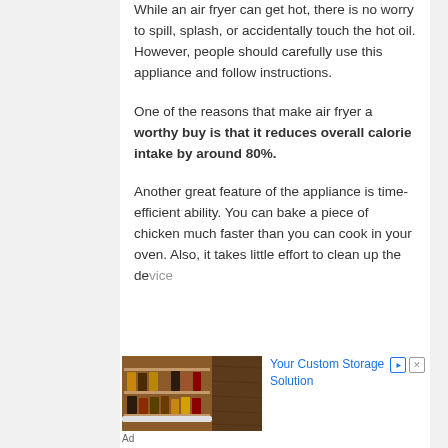While an air fryer can get hot, there is no worry to spill, splash, or accidentally touch the hot oil. However, people should carefully use this appliance and follow instructions.
One of the reasons that make air fryer a worthy buy is that it reduces overall calorie intake by around 80%.
Another great feature of the appliance is time-efficient ability. You can bake a piece of chicken much faster than you can cook in your oven. Also, it takes little effort to clean up the device.
[Figure (photo): Advertisement showing a custom pull-out cabinet storage organizer with spices and condiments on shelves inside a wooden cabinet]
Your Custom Storage Solution
Ad